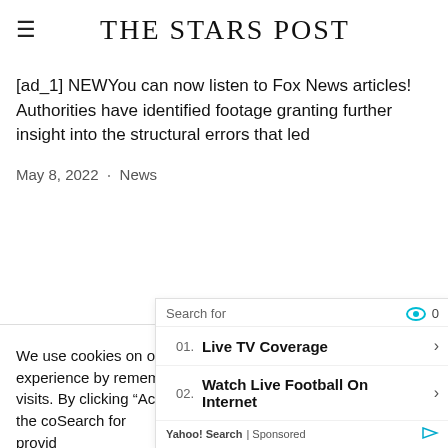THE STARS POST
[ad_1] NEWYou can now listen to Fox News articles! Authorities have identified footage granting further insight into the structural errors that led
May 8, 2022 · News
We use cookies on our website to give you the most relevant experience by remembering your preferences and repeat visits. By clicking “Accept All”, you consent to the use of ALL the co... provid
[Figure (screenshot): Yahoo Search sponsored ad overlay with search bar showing eye icon, two ad items: '01. Live TV Coverage' and '02. Watch Live Football On Internet', with Yahoo! Search | Sponsored footer]